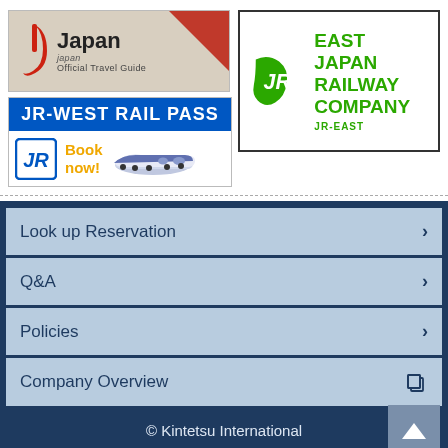[Figure (logo): Japan Official Travel Guide logo banner with red triangle accent]
[Figure (logo): JR-East East Japan Railway Company green logo banner with border]
[Figure (logo): JR-West Rail Pass banner with blue header and Book now! text with shinkansen]
Look up Reservation
Q&A
Policies
Company Overview
© Kintetsu International